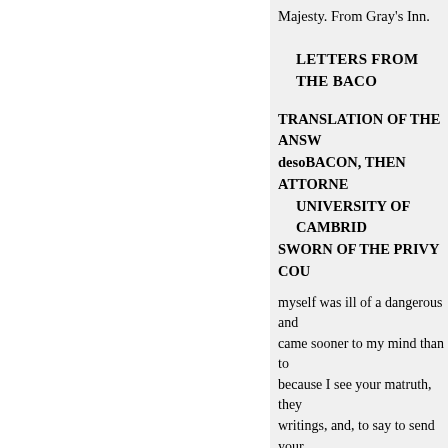Majesty. From Gray's Inn.
LETTERS FROM THE BACO
TRANSLATION OF THE ANSW desoBACON, THEN ATTORNE UNIVERSITY OF CAMBRID SWORN OF THE PRIVY COU
myself was ill of a dangerous and came sooner to my mind than to because I see your matruth, they writings, and, to say to send your brother, touching a war with Spa invective, as kings' affairs ought spirits left, and remnant of exper whom I pour out my daily praye the end. I do in a fortune worthy resting
YOUR letters were very accep itself will (I suppose) conduce to unwearied study, and perpetual